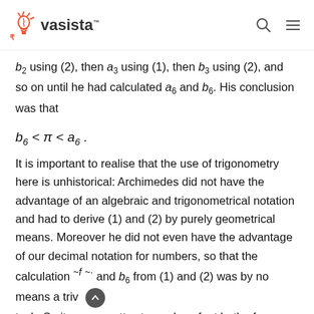Vasista
b2 using (2), then a3 using (1), then b3 using (2), and so on until he had calculated a6 and b6. His conclusion was that
It is important to realise that the use of trigonometry here is unhistorical: Archimedes did not have the advantage of an algebraic and trigonometrical notation and had to derive (1) and (2) by purely geometrical means. Moreover he did not even have the advantage of our decimal notation for numbers, so that the calculation of a6 and b6 from (1) and (2) was by no means a triv task. So it was a pretty stupendous feat both of imagination and of calculation and the wonder is